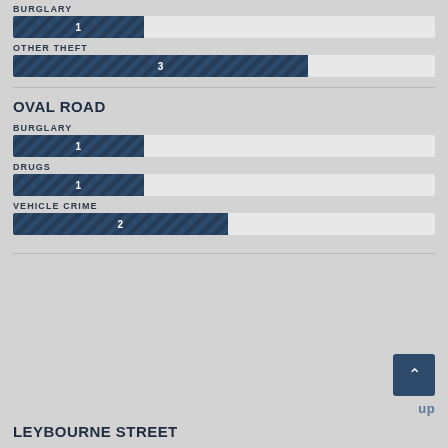BURGLARY
[Figure (bar-chart): BURGLARY (top section)]
OTHER THEFT
[Figure (bar-chart): OTHER THEFT]
OVAL ROAD
BURGLARY
[Figure (bar-chart): BURGLARY (Oval Road)]
DRUGS
[Figure (bar-chart): DRUGS]
VEHICLE CRIME
[Figure (bar-chart): VEHICLE CRIME]
LEYBOURNE STREET